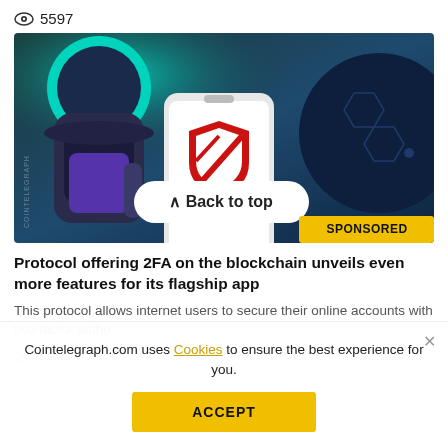5597
[Figure (illustration): Animated cryptocurrency characters holding a smartphone displaying a red shield/security logo. A 'Back to top' button is overlaid in the center-bottom area of the image. A yellow 'SPONSORED' badge is in the bottom-right corner.]
Protocol offering 2FA on the blockchain unveils even more features for its flagship app
This protocol allows internet users to secure their online accounts with two-factor authe…chain.
2367
Cointelegraph.com uses Cookies to ensure the best experience for you.
ACCEPT